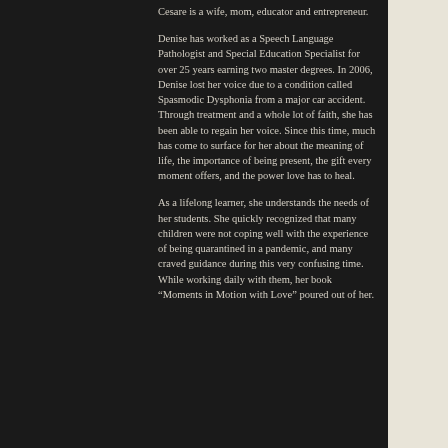Cesare is a wife, mom, educator and entrepreneur.
Denise has worked as a Speech Language Pathologist and Special Education Specialist for over 25 years earning two master degrees. In 2006, Denise lost her voice due to a condition called Spasmodic Dysphonia from a major car accident. Through treatment and a whole lot of faith, she has been able to regain her voice. Since this time, much has come to surface for her about the meaning of life, the importance of being present, the gift every moment offers, and the power love has to heal.
As a lifelong learner, she understands the needs of her students. She quickly recognized that many children were not coping well with the experience of being quarantined in a pandemic, and many craved guidance during this very confusing time. While working daily with them, her book “Moments in Motion with Love” poured out of her.